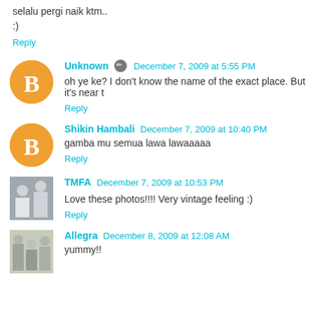selalu pergi naik ktm..
:)
Reply
Unknown  December 7, 2009 at 5:55 PM
oh ye ke? I don't know the name of the exact place. But it's near t
Reply
Shikin Hambali  December 7, 2009 at 10:40 PM
gamba mu semua lawa lawaaaaa
Reply
TMFA  December 7, 2009 at 10:53 PM
Love these photos!!!! Very vintage feeling :)
Reply
Allegra  December 8, 2009 at 12:08 AM
yummy!!